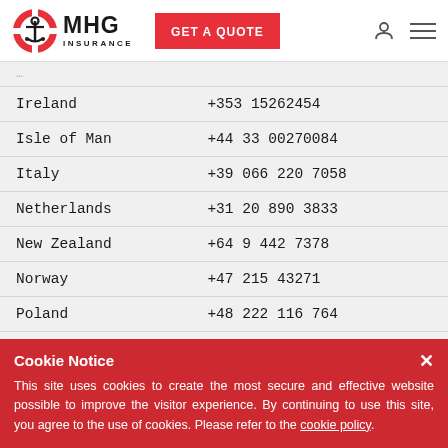[Figure (logo): MHG Insurance logo with red life preserver ring and anchor]
GET A QUOTE
| Country | Phone Number |
| --- | --- |
| Ireland | +353 15262454 |
| Isle of Man | +44 33 00270084 |
| Italy | +39 066 220 7058 |
| Netherlands | +31 20 890 3833 |
| New Zealand | +64 9 442 7378 |
| Norway | +47 215 43271 |
| Poland | +48 222 116 764 |
| Romania | +40 318 107 776 |
Cookie Notice
This site uses cookies to create the most secure and effective website possible to improve the visitor experience. By continuing to use this site, you agree to the use of cookies. Please refer to the cookie policy.